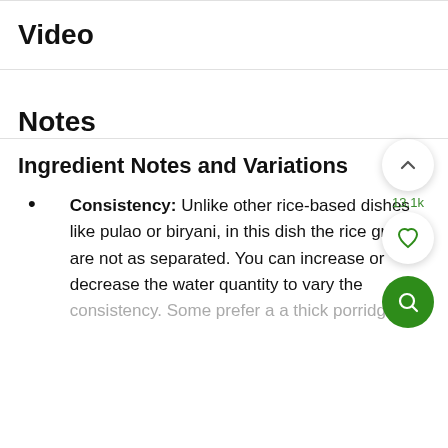Video
Notes
Ingredient Notes and Variations
Consistency: Unlike other rice-based dishes like pulao or biryani, in this dish the rice grains are not as separated. You can increase or decrease the water quantity to vary the consistency. Some prefer a a thick porridge-like